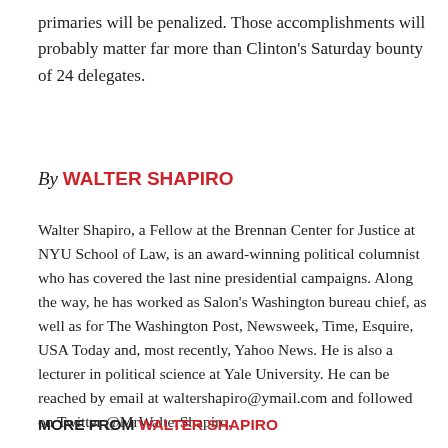primaries will be penalized. Those accomplishments will probably matter far more than Clinton's Saturday bounty of 24 delegates.
By WALTER SHAPIRO
Walter Shapiro, a Fellow at the Brennan Center for Justice at NYU School of Law, is an award-winning political columnist who has covered the last nine presidential campaigns. Along the way, he has worked as Salon's Washington bureau chief, as well as for The Washington Post, Newsweek, Time, Esquire, USA Today and, most recently, Yahoo News. He is also a lecturer in political science at Yale University. He can be reached by email at waltershapiro@ymail.com and followed on Twitter @MrWalterShapiro.
MORE FROM WALTER SHAPIRO